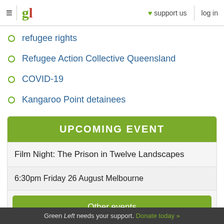gl | support us | log in
refugee rights
Refugee Action Collective Queensland
COVID-19
Kangaroo Point detainees
UPCOMING EVENT
Film Night: The Prison in Twelve Landscapes
6:30pm Friday 26 August Melbourne
Other events
Green Left needs your support. Donate today »